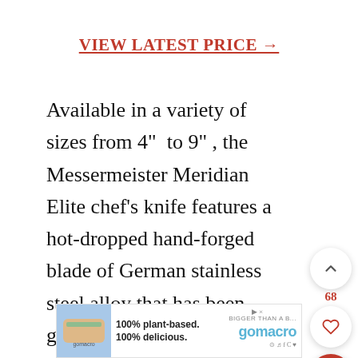VIEW LATEST PRICE →
Available in a variety of sizes from 4" to 9", the Messermeister Meridian Elite chef's knife features a hot-dropped hand-forged blade of German stainless steel alloy that has been ground and hand-stropped to razor sharpness. The fully exposed tang is connected to the polyoxymethylene (POM) handle via three rivets.
[Figure (other): Advertisement banner for GoMacro protein bars: '100% plant-based. 100% delicious.' with gomacro logo and product image]